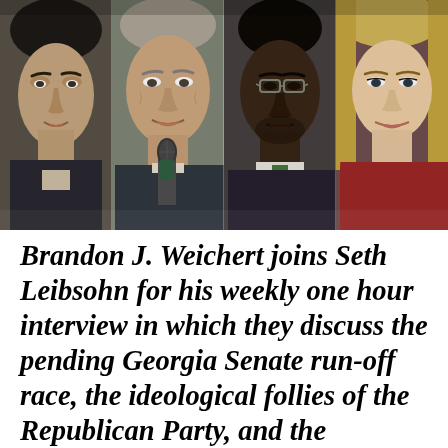[Figure (photo): Four portrait photos side by side of political figures associated with the Georgia Senate runoff race: Jon Ossoff (left), David Perdue (second), Raphael Warnock (third), and Kelly Loeffler (right). Perdue is holding a microphone.]
Brandon J. Weichert joins Seth Leibsohn for his weekly one hour interview in which they discuss the pending Georgia Senate run-off race, the ideological follies of the Republican Party, and the wrongheaded moves by Trump to